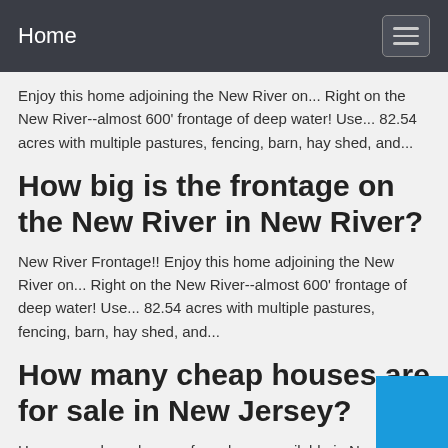Home
Enjoy this home adjoining the New River on... Right on the New River--almost 600' frontage of deep water! Use... 82.54 acres with multiple pastures, fencing, barn, hay shed, and...
How big is the frontage on the New River in New River?
New River Frontage!! Enjoy this home adjoining the New River on... Right on the New River--almost 600' frontage of deep water! Use... 82.54 acres with multiple pastures, fencing, barn, hay shed, and...
How many cheap houses are for sale in New Jersey?
How many cheap houses for sale are available in New Jersey? On Point2, you'll find 3,935 cheap houses for sale in